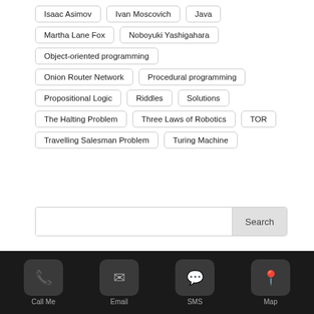Isaac Asimov
Ivan Moscovich
Java
Martha Lane Fox
Noboyuki Yashigahara
Object-oriented programming
Onion Router Network
Procedural programming
Propositional Logic
Riddles
Solutions
The Halting Problem
Three Laws of Robotics
TOR
Travelling Salesman Problem
Turing Machine
Search
Call Me  Email  SMS  Map